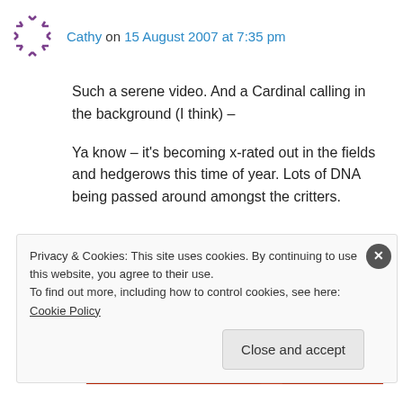Cathy on 15 August 2007 at 7:35 pm
Such a serene video. And a Cardinal calling in the background (I think) –
Ya know – it's becoming x-rated out in the fields and hedgerows this time of year. Lots of DNA being passed around amongst the critters.
↳ Reply
[Figure (photo): Red device (phone or tablet) on a red background, cropped view]
Privacy & Cookies: This site uses cookies. By continuing to use this website, you agree to their use.
To find out more, including how to control cookies, see here: Cookie Policy
Close and accept